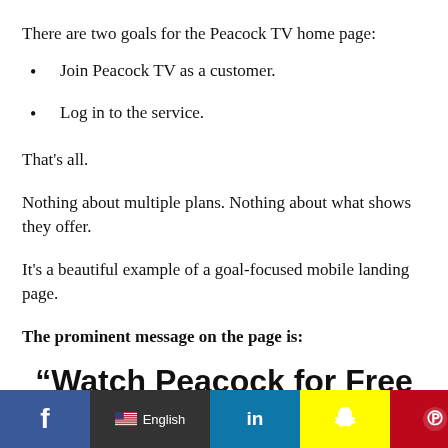There are two goals for the Peacock TV home page:
Join Peacock TV as a customer.
Log in to the service.
That's all.
Nothing about multiple plans. Nothing about what shows they offer.
It's a beautiful example of a goal-focused mobile landing page.
The prominent message on the page is:
“Watch Peacock for Free